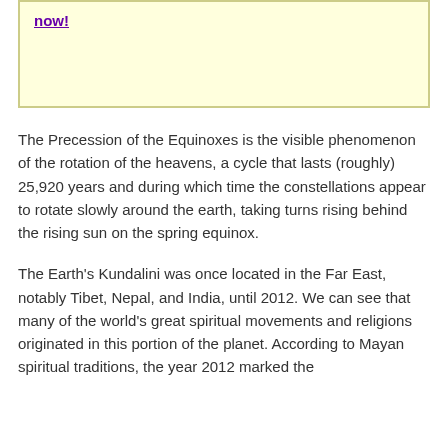now!
The Precession of the Equinoxes is the visible phenomenon of the rotation of the heavens, a cycle that lasts (roughly) 25,920 years and during which time the constellations appear to rotate slowly around the earth, taking turns rising behind the rising sun on the spring equinox.
The Earth's Kundalini was once located in the Far East, notably Tibet, Nepal, and India, until 2012. We can see that many of the world's great spiritual movements and religions originated in this portion of the planet. According to Mayan spiritual traditions, the year 2012 marked the